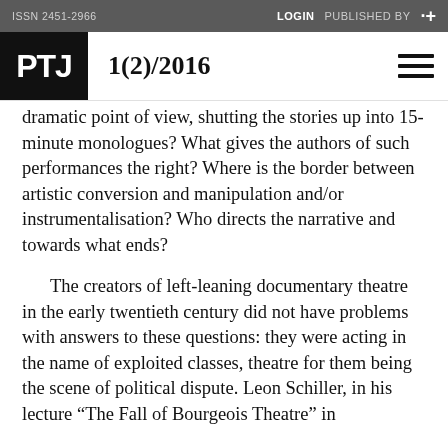ISSN 2451-2966   LOGIN   PUBLISHED BY
PTJ   1(2)/2016
dramatic point of view, shutting the stories up into 15-minute monologues? What gives the authors of such performances the right? Where is the border between artistic conversion and manipulation and/or instrumentalisation? Who directs the narrative and towards what ends?
The creators of left-leaning documentary theatre in the early twentieth century did not have problems with answers to these questions: they were acting in the name of exploited classes, theatre for them being the scene of political dispute. Leon Schiller, in his lecture “The Fall of Bourgeois Theatre” in